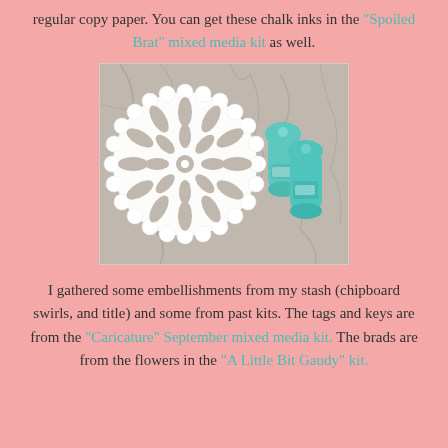regular copy paper. You can get these chalk inks in the "Spoiled Brat" mixed media kit as well.
[Figure (photo): Photo of a white intricate floral die-cut doily and two teal/mint chalk ink applicator bottles on a mottled gray background.]
I gathered some embellishments from my stash (chipboard swirls, and title) and some from past kits. The tags and keys are from the "Caricature" September mixed media kit. The brads are from the flowers in the "A Little Bit Gaudy" kit.